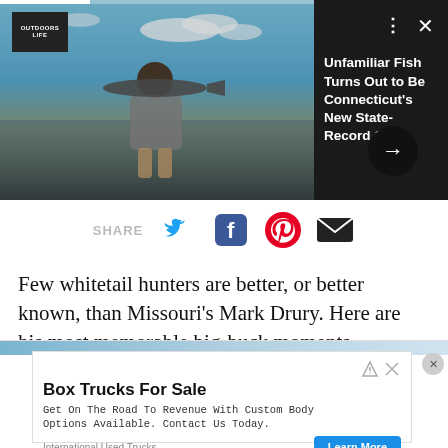[Figure (photo): Video thumbnail showing a person holding a large fish on a boat, with water in the background. Outdoors Life logo in top-left. Three-dot menu and X close button in top-right. Arrow button for navigation. Dark right panel with article teaser text.]
Unfamiliar Fish Turns Out to Be Connecticut's New State-Record Cobia
[Figure (infographic): Share bar with SHARE label, Twitter bird icon, Facebook f icon, Pinterest P icon, and email envelope icon]
Few whitetail hunters are better, or better known, than Missouri's Mark Drury. Here are his most memorable big-buck moments.
[Figure (screenshot): Advertisement for Box Trucks For Sale by International Used Trucks. Text: Get On The Road To Revenue With Custom Body Options Available. Contact Us Today. Learn More button.]